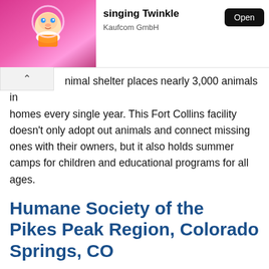[Figure (screenshot): App advertisement banner showing a cartoon baby character on a pink background with text 'singing Twinkle', 'Kaufcom GmbH', and an 'Open' button]
nimal shelter places nearly 3,000 animals in homes every single year. This Fort Collins facility doesn't only adopt out animals and connect missing ones with their owners, but it also holds summer camps for children and educational programs for all ages.
Humane Society of the Pikes Peak Region, Colorado Springs, CO
This shelter, located in Colorado Springs, houses and offers medical care to homeless animals in the area. The Humane Society of the Pikes Peak Region is no doubt a great resource for those seeking to adopt a